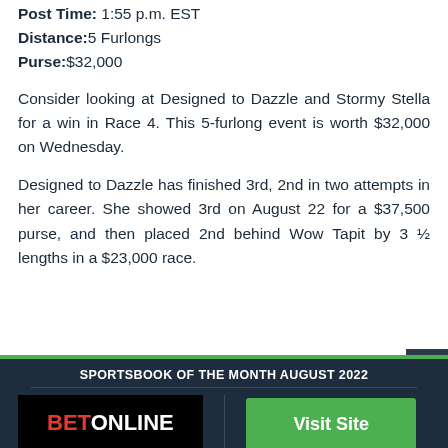Post Time: 1:55 p.m. EST
Distance: 5 Furlongs
Purse: $32,000
Consider looking at Designed to Dazzle and Stormy Stella for a win in Race 4. This 5-furlong event is worth $32,000 on Wednesday.
Designed to Dazzle has finished 3rd, 2nd in two attempts in her career. She showed 3rd on August 22 for a $37,500 purse, and then placed 2nd behind Wow Tapit by 3 ½ lengths in a $23,000 race.
SPORTSBOOK OF THE MONTH AUGUST 2022
[Figure (logo): BetOnline logo in black box with red BET and white ONLINE text]
Visit Site
$3000 BONUS
Read Review